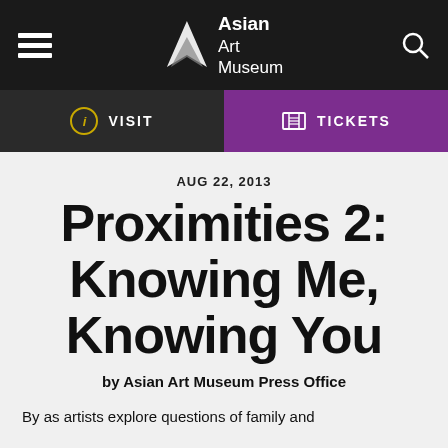Asian Art Museum — navigation header with hamburger menu, logo, and search icon
VISIT | TICKETS
AUG 22, 2013
Proximities 2: Knowing Me, Knowing You
by Asian Art Museum Press Office
By as artists explore questions of family and...